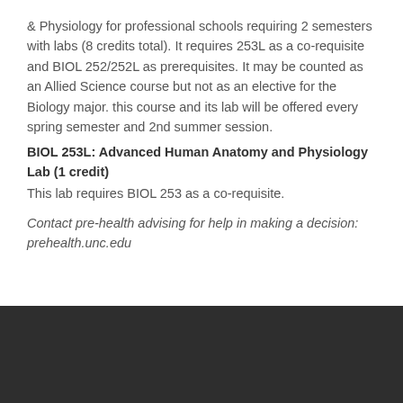& Physiology for professional schools requiring 2 semesters with labs (8 credits total). It requires 253L as a co-requisite and BIOL 252/252L as prerequisites. It may be counted as an Allied Science course but not as an elective for the Biology major. this course and its lab will be offered every spring semester and 2nd summer session.
BIOL 253L: Advanced Human Anatomy and Physiology Lab (1 credit)
This lab requires BIOL 253 as a co-requisite.
Contact pre-health advising for help in making a decision: prehealth.unc.edu